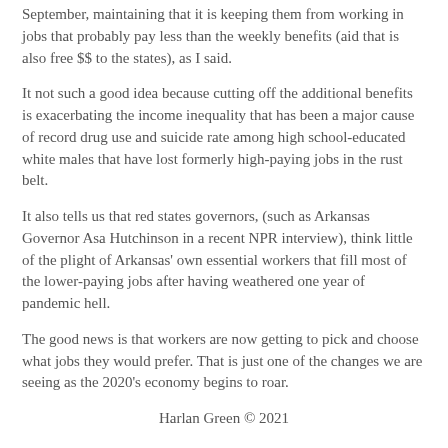September, maintaining that it is keeping them from working in jobs that probably pay less than the weekly benefits (aid that is also free $$ to the states), as I said.
It not such a good idea because cutting off the additional benefits is exacerbating the income inequality that has been a major cause of record drug use and suicide rate among high school-educated white males that have lost formerly high-paying jobs in the rust belt.
It also tells us that red states governors, (such as Arkansas Governor Asa Hutchinson in a recent NPR interview), think little of the plight of Arkansas' own essential workers that fill most of the lower-paying jobs after having weathered one year of pandemic hell.
The good news is that workers are now getting to pick and choose what jobs they would prefer. That is just one of the changes we are seeing as the 2020's economy begins to roar.
Harlan Green © 2021